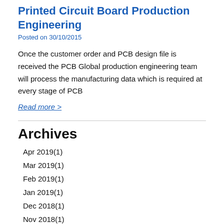Printed Circuit Board Production Engineering
Posted on 30/10/2015
Once the customer order and PCB design file is received the PCB Global production engineering team will process the manufacturing data which is required at every stage of PCB
Read more >
Archives
Apr 2019(1)
Mar 2019(1)
Feb 2019(1)
Jan 2019(1)
Dec 2018(1)
Nov 2018(1)
Oct 2018(1)